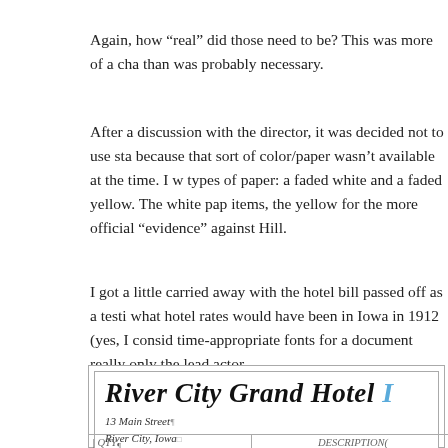Again, how “real” did those need to be? This was more of a cha[llenge] than was probably necessary.
After a discussion with the director, it was decided not to use sta[ndard colors] because that sort of color/paper wasn’t available at the time. I w[orked with two] types of paper: a faded white and a faded yellow. The white pap[er for personal] items, the yellow for the more official “evidence” against Hill.
I got a little carried away with the hotel bill passed off as a testi[monial letter on] what hotel rates would have been in Iowa in 1912 (yes, I consid[ered this) and] time-appropriate fonts for a document really only the lead actor [would see].
[Figure (other): Hotel bill document for River City Grand Hotel, 13 Main Street, River City, Iowa. Shows hotel name in decorative script font, address in italic, and partial table rows at bottom.]